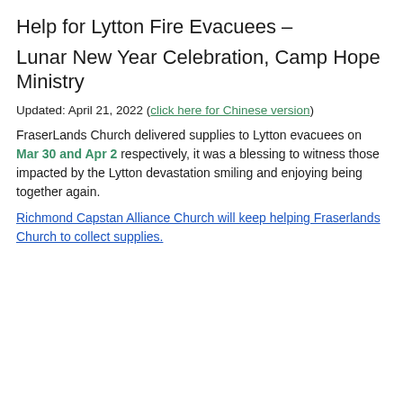Help for Lytton Fire Evacuees –
Lunar New Year Celebration, Camp Hope Ministry
Updated: April 21, 2022 (click here for Chinese version)
FraserLands Church delivered supplies to Lytton evacuees on Mar 30 and Apr 2 respectively, it was a blessing to witness those impacted by the Lytton devastation smiling and enjoying being together again.
Richmond Capstan Alliance Church will keep helping Fraserlands Church to collect supplies.